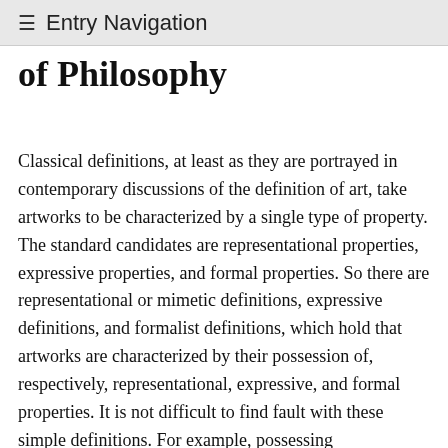≡ Entry Navigation
of Philosophy
Classical definitions, at least as they are portrayed in contemporary discussions of the definition of art, take artworks to be characterized by a single type of property. The standard candidates are representational properties, expressive properties, and formal properties. So there are representational or mimetic definitions, expressive definitions, and formalist definitions, which hold that artworks are characterized by their possession of, respectively, representational, expressive, and formal properties. It is not difficult to find fault with these simple definitions. For example, possessing representational, expressive, and formal properties cannot be sufficient conditions, since, obviously, instructional manuals are representations, but not typically artworks, human faces and gestures have expressive properties without being works of art, and both natural objects and artifacts produced solely for homely utilitarian purposes have formal properties but are not artworks.